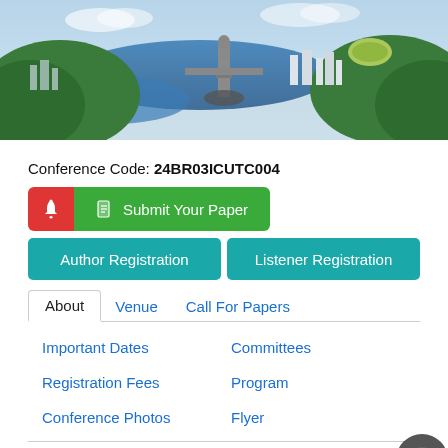[Figure (photo): Aerial photo of Rio de Janeiro showing Christ the Redeemer statue, lagoon, green hills, and city skyline]
Conference Code: 24BR03ICUTC004
Submit Your Paper
Author Registration
Listener Registration
About
Venue
Call For Papers
Important Dates
Committees
Registration Fees
Program
Conference Photos
Flyer
The International Research Conference on...